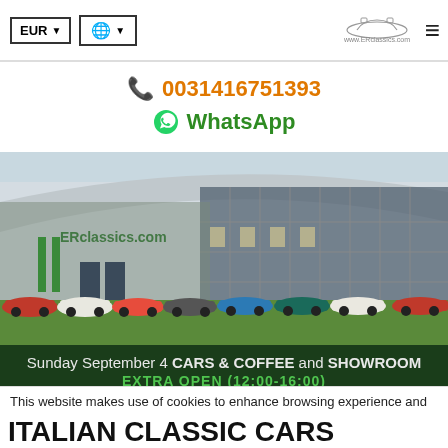EUR  [globe icon]  www.ERclassics.com  [hamburger menu]
0031416751393
WhatsApp
[Figure (photo): Exterior photo of ERclassics showroom building with classic cars parked in front on grass — a modern glass and steel building with ERclassics.com branding, multiple classic cars of various colors lined up outside.]
Sunday September 4 CARS & COFFEE and SHOWROOM
EXTRA OPEN (12:00-16:00)
This website makes use of cookies to enhance browsing experience and provide additional functionality. Details
Allow cookies
ITALIAN CLASSIC CARS